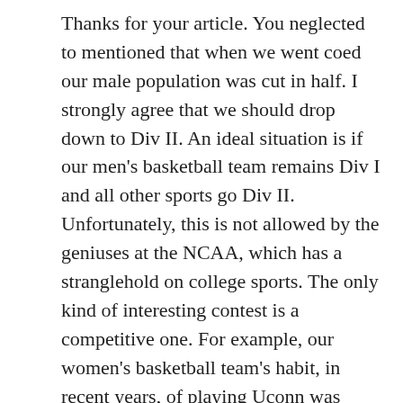Thanks for your article. You neglected to mentioned that when we went coed our male population was cut in half. I strongly agree that we should drop down to Div II. An ideal situation is if our men's basketball team remains Div I and all other sports go Div II. Unfortunately, this is not allowed by the geniuses at the NCAA, which has a stranglehold on college sports. The only kind of interesting contest is a competitive one. For example, our women's basketball team's habit, in recent years, of playing Uconn was utterly boring. It was an exhibition, not a contest, and unfair to spectators. I would rather see a season full of competitive games than dream of playing (and losing to) Duke once every thirty years. Unfortunately, this will only happen when us old alums who lived through years when we were occasionally nationally prominent die off.